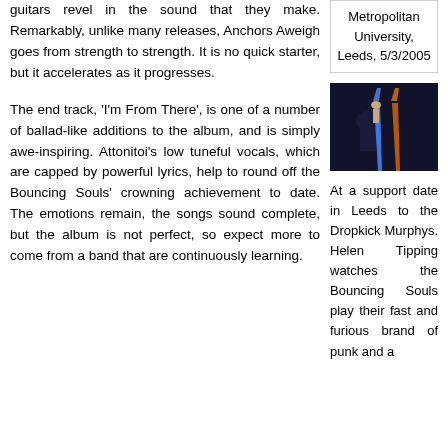guitars revel in the sound that they make. Remarkably, unlike many releases, Anchors Aweigh goes from strength to strength. It is no quick starter, but it accelerates as it progresses.
The end track, 'I'm From There', is one of a number of ballad-like additions to the album, and is simply awe-inspiring. Attonitoi's low tuneful vocals, which are capped by powerful lyrics, help to round off the Bouncing Souls' crowning achievement to date. The emotions remain, the songs sound complete, but the album is not perfect, so expect more to come from a band that are continuously learning.
Metropolitan University, Leeds, 5/3/2005
[Figure (photo): Concert photo showing performer with colorful light beams (blue and orange/red) against dark background]
At a support date in Leeds to the Dropkick Murphys. Helen Tipping watches the Bouncing Souls play their fast and furious brand of punk and a